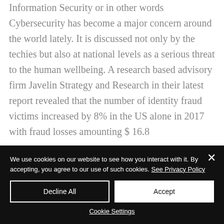Information Security or in other words Cybersecurity has become a major concern around the world lately. It is discussed not only by the techies but also at national levels as a serious threat to the human wellbeing. A research based advisory firm Javelin Strategy and Research in their latest report revealed that the number of identity fraud victims increased by 8% in the US alone in 2017 with fraud losses amounting $ 16.8
We use cookies on our website to see how you interact with it. By accepting, you agree to our use of such cookies. See Privacy Policy
Decline All
Accept
Cookie Settings